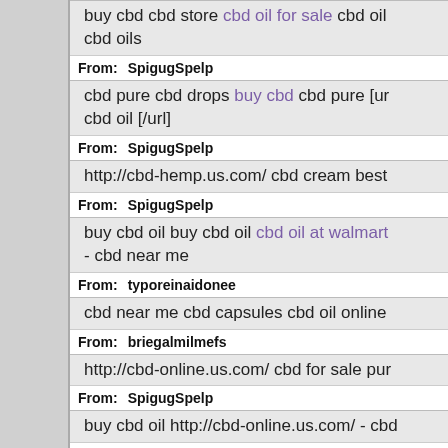buy cbd cbd store cbd oil for sale cbd oils
From: SpigugSpelp
cbd pure cbd drops buy cbd cbd pure [url] cbd oil [/url]
From: SpigugSpelp
http://cbd-hemp.us.com/ cbd cream best
From: SpigugSpelp
buy cbd oil buy cbd oil cbd oil at walmart - cbd near me
From: typoreinaidonee
cbd near me cbd capsules cbd oil online
From: briegalmilmefs
http://cbd-online.us.com/ cbd for sale pur
From: SpigugSpelp
buy cbd oil http://cbd-online.us.com/ - cbd
From: SpigugSpelp
hemp oil cbd oil for sale cbd gummies wa hemp.us.com/ - cbd drops
From: SpigugSpelp
pure cbd oil cbd oil benefits cbd drops cbd
From: Keroappeask